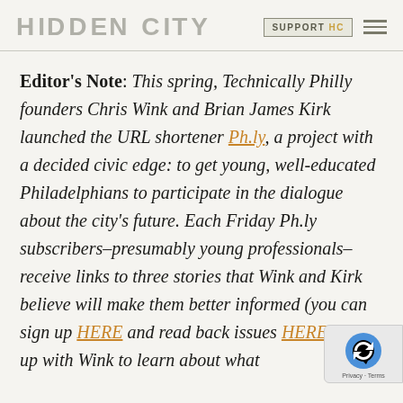HIDDEN CITY | SUPPORT HC
Editor's Note: This spring, Technically Philly founders Chris Wink and Brian James Kirk launched the URL shortener Ph.ly, a project with a decided civic edge: to get young, well-educated Philadelphians to participate in the dialogue about the city's future. Each Friday Ph.ly subscribers–presumably young professionals–receive links to three stories that Wink and Kirk believe will make them better informed (you can sign up HERE and read back issues HERE) catch up with Wink to learn about what